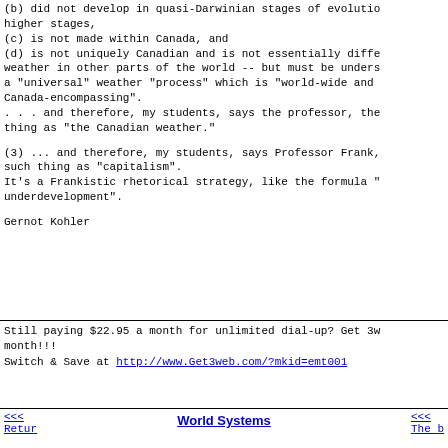(b) did not develop in quasi-Darwinian stages of evolution from lower to higher stages,
(c) is not made within Canada, and
(d) is not uniquely Canadian and is not essentially different from weather in other parts of the world -- but must be understood as a "universal" weather "process" which is "world-wide and Canada-encompassing".
. . . and therefore, my students, says the professor, there is no such thing as "the Canadian weather."
(3) ... and therefore, my students, says Professor Frank, there is no such thing as "capitalism".
It's a Frankistic rhetorical strategy, like the formula "there is no underdevelopment".
Gernot Kohler
Still paying $22.95 a month for unlimited dial-up? Get 3w
month!!!
Switch & Save at http://www.Get3web.com/?mkid=emt001
<<< Return    World Systems    Subscribers: It's all here    The b <<<